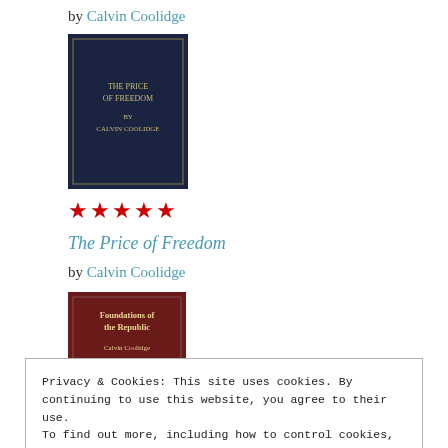by Calvin Coolidge
[Figure (photo): Dark navy book cover with gold text, appears to be a hardcover book]
★★★★★
The Price of Freedom
by Calvin Coolidge
[Figure (photo): Book cover of 'Foundations of the Republic' by Calvin Coolidge, with portrait of Coolidge on white lower half]
★★★★★
Privacy & Cookies: This site uses cookies. By continuing to use this website, you agree to their use.
To find out more, including how to control cookies, see here: Cookie Policy